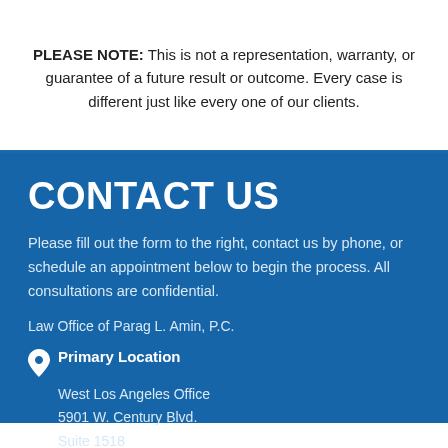PLEASE NOTE: This is not a representation, warranty, or guarantee of a future result or outcome. Every case is different just like every one of our clients.
CONTACT US
Please fill out the form to the right, contact us by phone, or schedule an appointment below to begin the process. All consultations are confidential.
Law Office of Parag L. Amin, P.C.
Primary Location
West Los Angeles Office
5901 W. Century Blvd.
Suite 1518